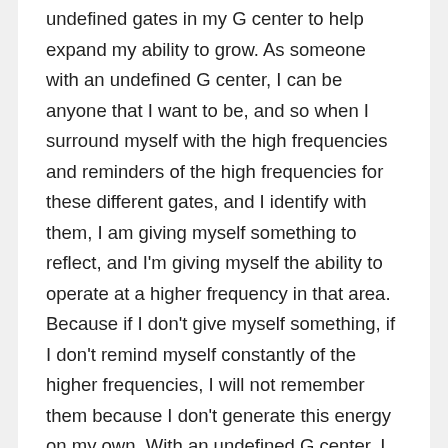undefined gates in my G center to help expand my ability to grow. As someone with an undefined G center, I can be anyone that I want to be, and so when I surround myself with the high frequencies and reminders of the high frequencies for these different gates, and I identify with them, I am giving myself something to reflect, and I'm giving myself the ability to operate at a higher frequency in that area. Because if I don't give myself something, if I don't remind myself constantly of the higher frequencies, I will not remember them because I don't generate this energy on my own. With an undefined G center, I can inconsistently generate this concept of self. I inconsistently feel magnetic. I inconsistently feel like a leader. I inconsistently feel creative, and like I'm